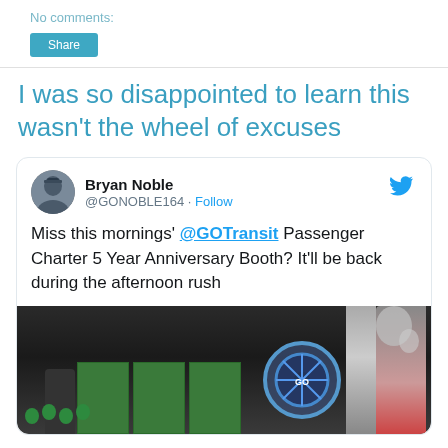No comments:
Share
I was so disappointed to learn this wasn't the wheel of excuses
[Figure (screenshot): Embedded tweet from Bryan Noble (@GONOBLE164) with a Follow link and Twitter bird icon. Tweet text reads: 'Miss this mornings' @GOTransit Passenger Charter 5 Year Anniversary Booth? It'll be back during the afternoon rush'. Below the text is a photo of a transit station booth with green balloons, green information panels, a wheel/spinner, and decorations.]